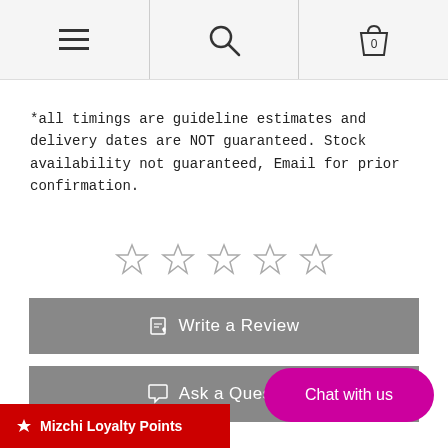[Navigation header with hamburger menu, search icon, and shopping bag icon with 0]
*all timings are guideline estimates and delivery dates are NOT guaranteed. Stock availability not guaranteed, Email for prior confirmation.
[Figure (other): Five empty star rating icons in a row]
[Figure (other): Write a Review button (grey)]
[Figure (other): Ask a Question button (grey)]
Mizchi Loyalty Points
[Figure (other): Chat with us button (magenta/pink pill shape)]